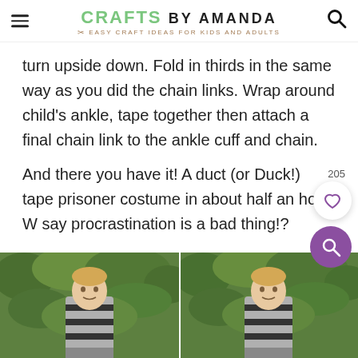CRAFTS BY AMANDA — Easy Craft Ideas for Kids and Adults
turn upside down. Fold in thirds in the same way as you did the chain links. Wrap around child's ankle, tape together then attach a final chain link to the ankle cuff and chain.
And there you have it! A duct (or Duck!) tape prisoner costume in about half an hour. Who say procrastination is a bad thing!?
[Figure (photo): Two side-by-side photos of a blonde boy smiling, standing in front of green foliage bushes, wearing a prisoner costume made of duct tape.]